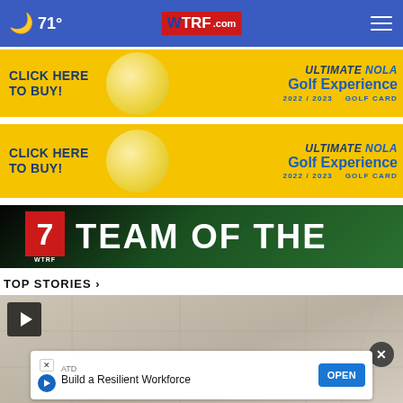🌙 71° | WTRF.com
[Figure (screenshot): Yellow advertisement banner: CLICK HERE TO BUY! ULTIMATE NOLA Golf Experience 2022/2023 GOLF CARD]
[Figure (screenshot): Yellow advertisement banner: CLICK HERE TO BUY! ULTIMATE NOLA Golf Experience 2022/2023 GOLF CARD]
[Figure (screenshot): WTRF 7 TEAM OF THE (Week) green banner with WTRF 7 logo]
TOP STORIES ›
[Figure (screenshot): Video thumbnail showing interior ceiling, with play button. Ad overlay: ATD - Build a Resilient Workforce - OPEN button]
ATD Build a Resilient Workforce OPEN